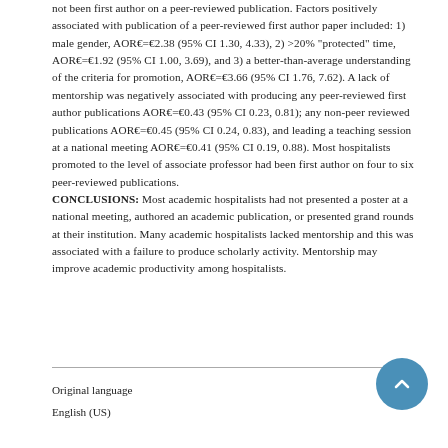not been first author on a peer-reviewed publication. Factors positively associated with publication of a peer-reviewed first author paper included: 1) male gender, AOR€=€2.38 (95% CI 1.30, 4.33), 2) >20% "protected" time, AOR€=€1.92 (95% CI 1.00, 3.69), and 3) a better-than-average understanding of the criteria for promotion, AOR€=€3.66 (95% CI 1.76, 7.62). A lack of mentorship was negatively associated with producing any peer-reviewed first author publications AOR€=€0.43 (95% CI 0.23, 0.81); any non-peer reviewed publications AOR€=€0.45 (95% CI 0.24, 0.83), and leading a teaching session at a national meeting AOR€=€0.41 (95% CI 0.19, 0.88). Most hospitalists promoted to the level of associate professor had been first author on four to six peer-reviewed publications. CONCLUSIONS: Most academic hospitalists had not presented a poster at a national meeting, authored an academic publication, or presented grand rounds at their institution. Many academic hospitalists lacked mentorship and this was associated with a failure to produce scholarly activity. Mentorship may improve academic productivity among hospitalists.
Original language
English (US)